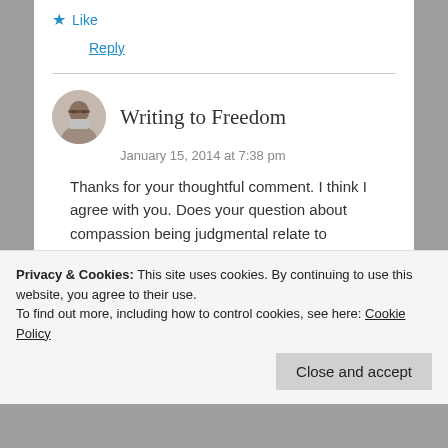★ Like
Reply
Writing to Freedom
January 15, 2014 at 7:38 pm
Thanks for your thoughtful comment. I think I agree with you. Does your question about compassion being judgmental relate to something Matt said in the video? Or is compassion a big part of how you align with
Privacy & Cookies: This site uses cookies. By continuing to use this website, you agree to their use.
To find out more, including how to control cookies, see here: Cookie Policy
Close and accept